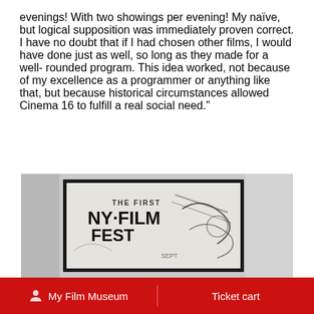evenings! With two showings per evening! My naïve, but logical supposition was immediately proven correct. I have no doubt that if I had chosen other films, I would have done just as well, so long as they made for a well- rounded program. This idea worked, not because of my excellence as a programmer or anything like that, but because historical circumstances allowed Cinema 16 to fulfill a real social need."
[Figure (photo): Black and white photograph of a framed poster on a wall reading 'THE FIRST NY FILM FEST' with abstract graphic design elements]
My Film Museum   Ticket cart